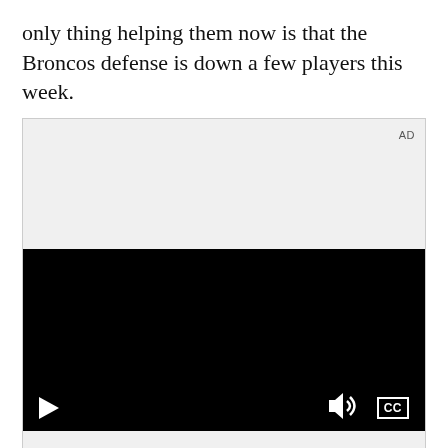only thing helping them now is that the Broncos defense is down a few players this week.
[Figure (screenshot): An advertisement/video player unit with a gray top section labeled 'AD', a black video area with play, volume, and CC controls at the bottom, and a gray bottom section displaying the Samsung logo.]